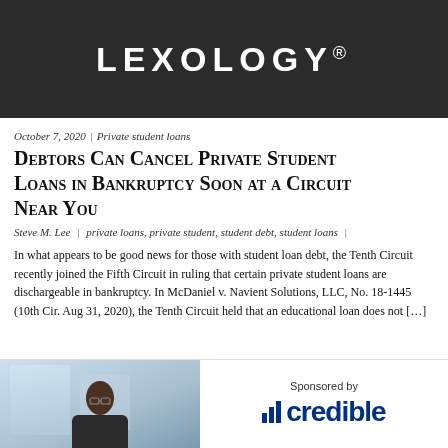[Figure (logo): Lexology logo on dark background banner]
October 7, 2020 | Private student loans
Debtors Can Cancel Private Student Loans in Bankruptcy Soon at a Circuit Near You
Steve M. Lee | private loans, private student, student debt, student loans |
In what appears to be good news for those with student loan debt, the Tenth Circuit recently joined the Fifth Circuit in ruling that certain private student loans are dischargeable in bankruptcy. In McDaniel v. Navient Solutions, LLC, No. 18-1445 (10th Cir. Aug 31, 2020), the Tenth Circuit held that an educational loan does not [...]
[Figure (photo): Person wearing glasses seated indoors with light background]
Sponsored by credible